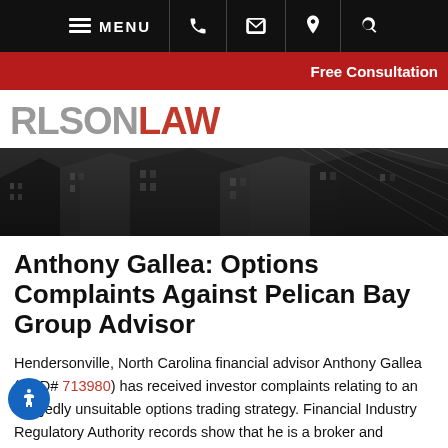MENU (navigation bar with phone, email, location, search icons)
Free Consultation
[Figure (logo): RLSON LAW logo — RLSON in gray, LAW in red, large bold sans-serif]
[Figure (photo): Grayscale photograph of tall urban buildings / skyscrapers viewed from below at an angle]
Anthony Gallea: Options Complaints Against Pelican Bay Group Advisor
Hendersonville, North Carolina financial advisor Anthony Gallea (CRD# 713980) has received investor complaints relating to an allegedly unsuitable options trading strategy. Financial Industry Regulatory Authority records show that he is a broker and investment advisor with Morgan Stanley, whose